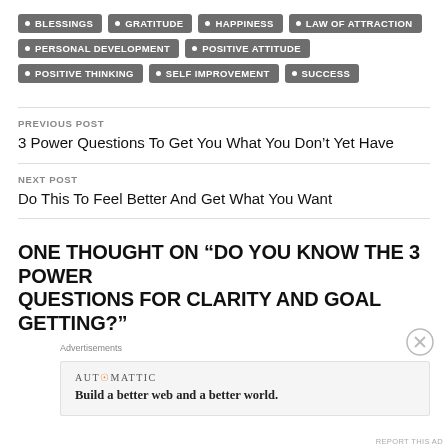BLESSINGS
GRATITUDE
HAPPINESS
LAW OF ATTRACTION
PERSONAL DEVELOPMENT
POSITIVE ATTITUDE
POSITIVE THINKING
SELF IMPROVEMENT
SUCCESS
PREVIOUS POST
3 Power Questions To Get You What You Don’t Yet Have
NEXT POST
Do This To Feel Better And Get What You Want
ONE THOUGHT ON “DO YOU KNOW THE 3 POWER QUESTIONS FOR CLARITY AND GOAL GETTING?”
Advertisements
AUTOMATTIC
Build a better web and a better world.